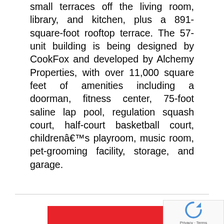small terraces off the living room, library, and kitchen, plus a 891-square-foot rooftop terrace. The 57-unit building is being designed by CookFox and developed by Alchemy Properties, with over 11,000 square feet of amenities including a doorman, fitness center, 75-foot saline lap pool, regulation squash court, half-court basketball court, childrenâ€™s playroom, music room, pet-grooming facility, storage, and garage.
[Figure (other): Red banner/advertisement at the bottom of the page, partially visible]